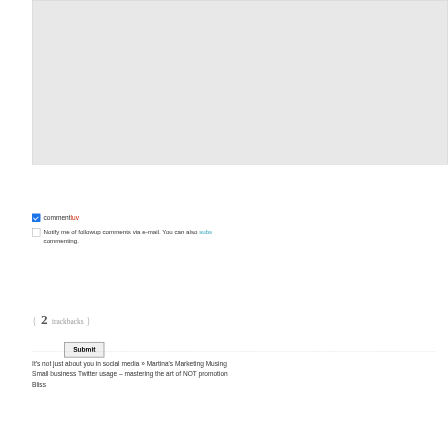[Figure (screenshot): Gray textarea input box for comment submission]
Submit
commentluv
Notify me of followup comments via e-mail. You can also subs... commenting.
{ 2 trackbacks }
It's not just about you in social media » Martina's Marketing Musing Small business Twitter usage – mastering the art of NOT promotion... Bliss